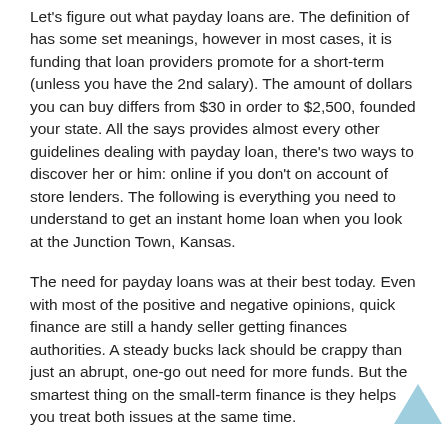Let's figure out what payday loans are. The definition of has some set meanings, however in most cases, it is funding that loan providers promote for a short-term (unless you have the 2nd salary). The amount of dollars you can buy differs from $30 in order to $2,500, founded your state. All the says provides almost every other guidelines dealing with payday loan, there's two ways to discover her or him: online if you don't on account of store lenders. The following is everything you need to understand to get an instant home loan when you look at the Junction Town, Kansas.
The need for payday loans was at their best today. Even with most of the positive and negative opinions, quick finance are still a handy seller getting finances authorities. A steady bucks lack should be crappy than just an abrupt, one-go out need for more funds. But the smartest thing on the small-term finance is they helps you treat both issues at the same time.